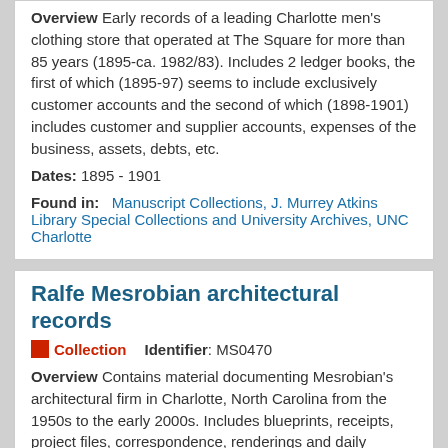Overview Early records of a leading Charlotte men's clothing store that operated at The Square for more than 85 years (1895-ca. 1982/83). Includes 2 ledger books, the first of which (1895-97) seems to include exclusively customer accounts and the second of which (1898-1901) includes customer and supplier accounts, expenses of the business, assets, debts, etc.
Dates: 1895 - 1901
Found in: Manuscript Collections, J. Murrey Atkins Library Special Collections and University Archives, UNC Charlotte
Ralfe Mesrobian architectural records
Collection   Identifier: MS0470
Overview Contains material documenting Mesrobian's architectural firm in Charlotte, North Carolina from the 1950s to the early 2000s. Includes blueprints, receipts, project files, correspondence, renderings and daily expense booklets.